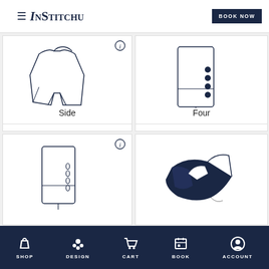InStitchu — BOOK NOW
[Figure (illustration): Line drawing of a jacket back vent (Side) with info icon]
Side
[Figure (illustration): Line drawing of a jacket sleeve with four buttons (Four)]
Four
[Figure (illustration): Line drawing of a jacket sleeve with buttonholes]
[Figure (illustration): Illustration of a dark navy jacket lapel/collar]
SHOP  DESIGN  CART  BOOK  ACCOUNT